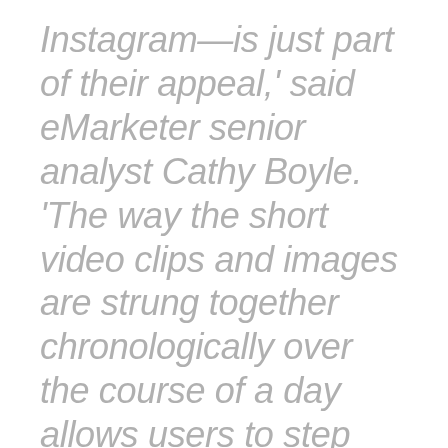Instagram—is just part of their appeal,' said eMarketer senior analyst Cathy Boyle. 'The way the short video clips and images are strung together chronologically over the course of a day allows users to step into the lives of their friends, a few seconds at a time. The visual and near-real-time nature of Stories makes it a compelling way for friends to connect, not to mention another